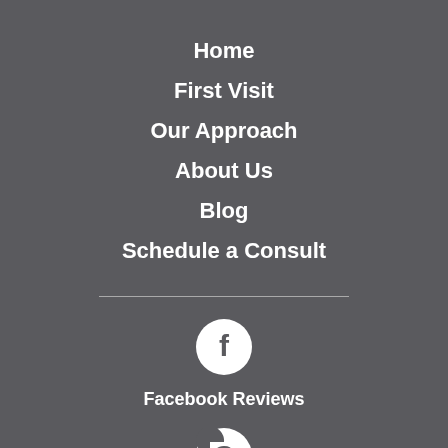Home
First Visit
Our Approach
About Us
Blog
Schedule a Consult
[Figure (logo): Facebook logo icon - white Facebook 'f' on white circle]
Facebook Reviews
[Figure (logo): Google logo icon - white G on white circle]
Google Reviews